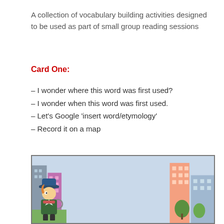A collection of vocabulary building activities designed to be used as part of small group reading sessions
Card One:
– I wonder where this word was first used?
– I wonder when this word was first used.
– Let's Google 'insert word/etymology'
– Record it on a map
[Figure (illustration): Vocabulary Detective illustration with a city background, a cartoon detective character on the left, and two text boxes. First box (orange border): 'A Series of Unfortunate Events – has a lovely running joke where Lemony Snicket uses the same set of words to explain words & phrase meanings. Read one of the books as a class novel and work it into your lessons. The fans will love you. hehehehe'. Second box: '- (insert word)... is a word which here means... - (insert phrase)... is a phrase which here means...']